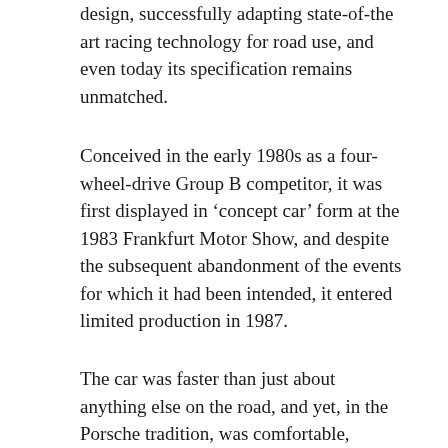design, successfully adapting state-of-the art racing technology for road use, and even today its specification remains unmatched.
Conceived in the early 1980s as a four-wheel-drive Group B competitor, it was first displayed in ‘concept car’ form at the 1983 Frankfurt Motor Show, and despite the subsequent abandonment of the events for which it had been intended, it entered limited production in 1987.
The car was faster than just about anything else on the road, and yet, in the Porsche tradition, was comfortable, practical and reliable. Indeed, with its electric windows and mirrors, climate control, electric heated seats and superb stereo system, the 959 rivalled many a limousine for luxury.
Altho...